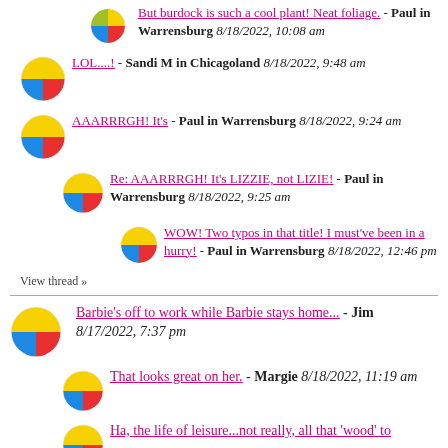But burdock is such a cool plant! Neat foliage. - Paul in Warrensburg 8/18/2022, 10:08 am
LOL....! - Sandi M in Chicagoland 8/18/2022, 9:48 am
AAARRRGH! It's - Paul in Warrensburg 8/18/2022, 9:24 am
Re: AAARRRGH! It's LIZZIE, not LIZIE! - Paul in Warrensburg 8/18/2022, 9:25 am
WOW! Two typos in that title! I must've been in a hurry! - Paul in Warrensburg 8/18/2022, 12:46 pm
View thread »
Barbie's off to work while Barbie stays home... - Jim 8/17/2022, 7:37 pm
That looks great on her. - Margie 8/18/2022, 11:19 am
Ha, the life of leisure...not really, all that 'wood' to...